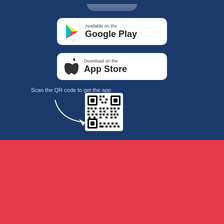[Figure (screenshot): Partial device/phone image at top of blue section]
[Figure (logo): Google Play store badge with Play Store triangle logo]
[Figure (logo): Apple App Store download badge with Apple logo]
Scan the QR code to get the app
[Figure (other): QR code for downloading the app, with curved arrow pointing to it]
HOME | RESIDENTIAL | COMMERCIAL | PROJECTS | AGENCIES | BLOG | NEWS | CONTACT
[Figure (logo): 4P real estate logo - partial white logo on red background]